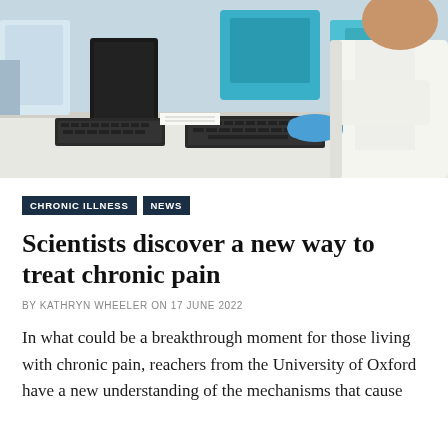[Figure (photo): A scientist in a white lab coat and blue gloves working at a laboratory computer workstation with keyboard and monitor, laboratory equipment visible in background]
CHRONIC ILLNESS   NEWS
Scientists discover a new way to treat chronic pain
BY KATHRYN WHEELER ON 17 JUNE 2022
In what could be a breakthrough moment for those living with chronic pain, reachers from the University of Oxford have a new understanding of the mechanisms that cause